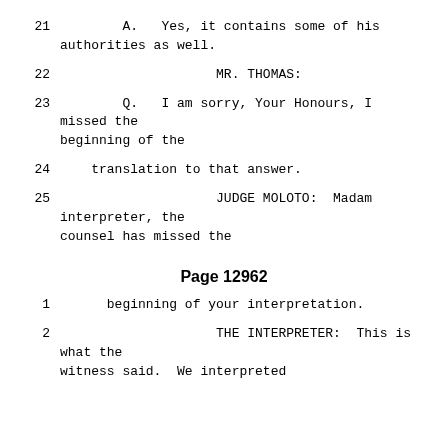21        A.   Yes, it contains some of his authorities as well.
22                    MR. THOMAS:
23        Q.   I am sorry, Your Honours, I missed the beginning of the
24      translation to that answer.
25                    JUDGE MOLOTO:  Madam interpreter, the counsel has missed the
Page 12962
1      beginning of your interpretation.
2                    THE INTERPRETER:  This is what the witness said.  We interpreted